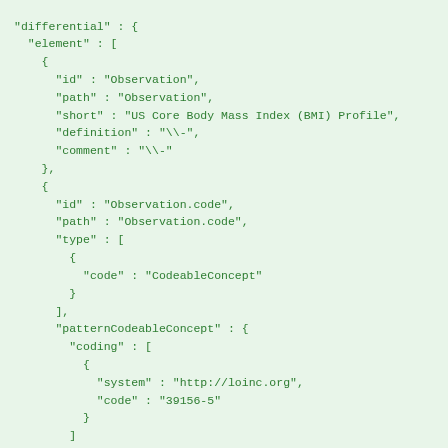"differential" : {
  "element" : [
    {
      "id" : "Observation",
      "path" : "Observation",
      "short" : "US Core Body Mass Index (BMI) Profile",
      "definition" : "\\-",
      "comment" : "\\-"
    },
    {
      "id" : "Observation.code",
      "path" : "Observation.code",
      "type" : [
        {
          "code" : "CodeableConcept"
        }
      ],
      "patternCodeableConcept" : {
        "coding" : [
          {
            "system" : "http://loinc.org",
            "code" : "39156-5"
          }
        ]
      },
      "mustSupport" : true
    },
    {
      "id" : "Observation.valueQuantity",